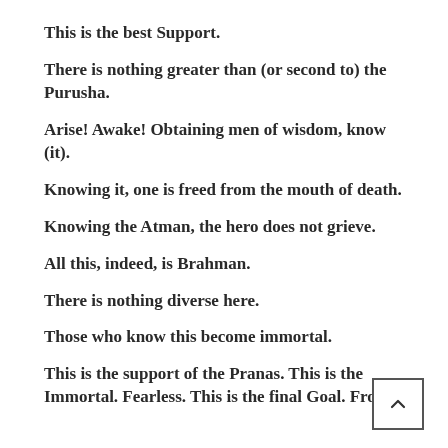This is the best Support.
There is nothing greater than (or second to) the Purusha.
Arise! Awake! Obtaining men of wisdom, know (it).
Knowing it, one is freed from the mouth of death.
Knowing the Atman, the hero does not grieve.
All this, indeed, is Brahman.
There is nothing diverse here.
Those who know this become immortal.
This is the support of the Pranas. This is the Immortal. Fearless. This is the final Goal. From